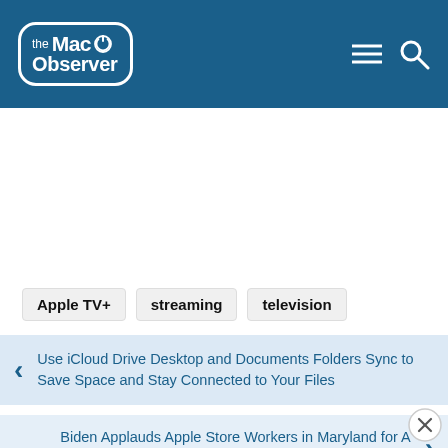the Mac Observer
Apple TV+
streaming
television
Use iCloud Drive Desktop and Documents Folders Sync to Save Space and Stay Connected to Your Files
Biden Applauds Apple Store Workers in Maryland for A Successful Union Election